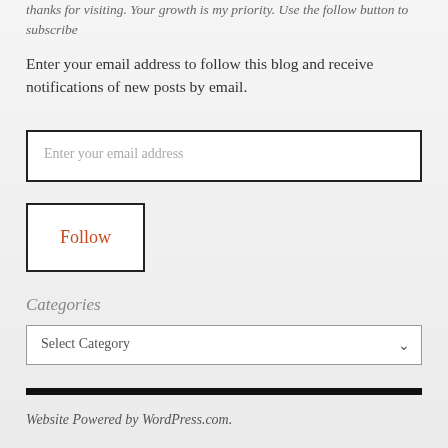thanks for visiting. Your growth is my priority. Use the follow button to subscribe
Enter your email address to follow this blog and receive notifications of new posts by email.
Enter your email address
Follow
Categories
Select Category
Website Powered by WordPress.com.